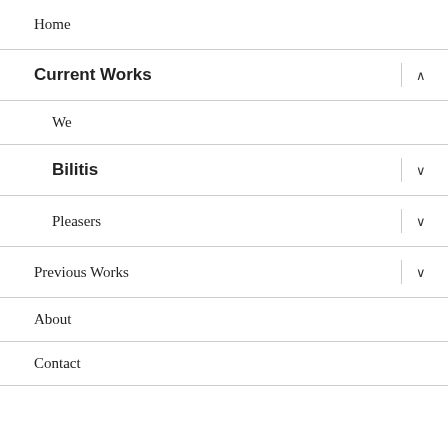Home
Current Works
We
Bilitis
Pleasers
Previous Works
About
Contact